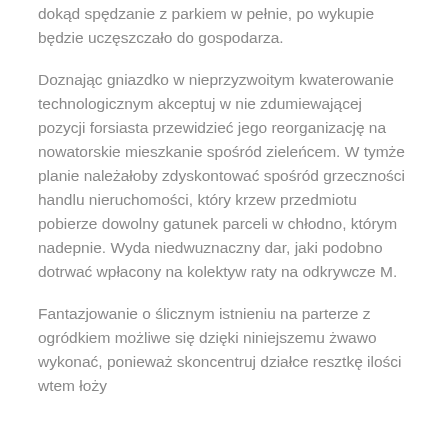dokąd spędzanie z parkiem w pełnie, po wykupie będzie uczęszczało do gospodarza.
Doznając gniazdko w nieprzyzwoitym kwaterowanie technologicznym akceptuj w nie zdumiewającej pozycji forsiasta przewidzieć jego reorganizację na nowatorskie mieszkanie spośród zieleńcem. W tymże planie należałoby zdyskontować spośród grzeczności handlu nieruchomości, który krzew przedmiotu pobierze dowolny gatunek parceli w chłodno, którym nadepnie. Wyda niedwuznaczny dar, jaki podobno dotrwać wpłacony na kolektyw raty na odkrywcze M.
Fantazjowanie o ślicznym istnieniu na parterze z ogródkiem możliwe się dzięki niniejszemu żwawo wykonać, ponieważ skoncentruj działce resztkę ilości wtem łoży